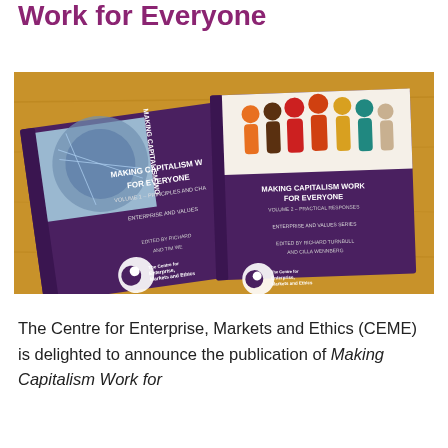Making Capitalism Work for Everyone
[Figure (photo): Two purple hardcover books titled 'Making Capitalism Work for Everyone' — Volume 1 (Principles and Challenges) and Volume 2 (Practical Responses) — published by The Centre for Enterprise, Markets and Ethics, lying on a wooden surface. Volume 2 shows colorful human figures on its cover.]
The Centre for Enterprise, Markets and Ethics (CEME) is delighted to announce the publication of Making Capitalism Work for